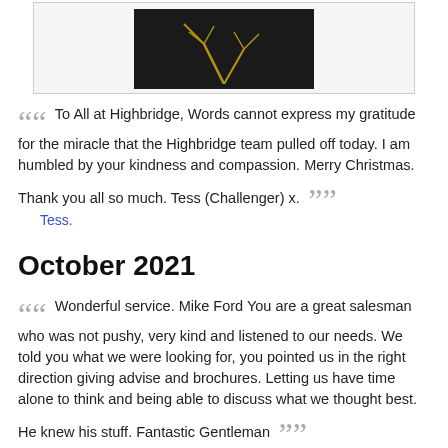[Figure (photo): Partial view of a dark image with golden/yellow branch-like shapes on a dark background, shown inside a light bordered frame]
““ To All at Highbridge, Words cannot express my gratitude for the miracle that the Highbridge team pulled off today. I am humbled by your kindness and compassion. Merry Christmas. Thank you all so much. Tess (Challenger) x. ””
Tess.
October 2021
““ Wonderful service. Mike Ford You are a great salesman who was not pushy, very kind and listened to our needs. We told you what we were looking for, you pointed us in the right direction giving advise and brochures. Letting us have time alone to think and being able to discuss what we thought best. He knew his stuff. Fantastic Gentleman ””
Carol Palmer.
July 2021